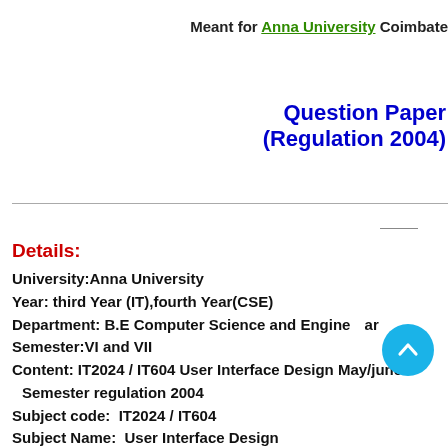Meant for Anna University Coimbate
Question Paper (Regulation 2004)
Details:
University:Anna University
Year: third Year (IT),fourth Year(CSE)
Department: B.E Computer Science and Engineering and
Semester:VI and VII
Content: IT2024 / IT604 User Interface Design May/june
Semester regulation 2004
Subject code:  IT2024 / IT604
Subject Name:  User Interface Design